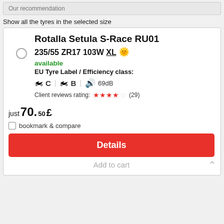Our recommendation
Show all the tyres in the selected size
Rotalla Setula S-Race RU01
235/55 ZR17 103W XL ☀
available
EU Tyre Label / Efficiency class:
C  B  69dB
Client reviews rating: ★★★★☆ (29)
just 70.50 £
bookmark & compare
Details
Add to cart